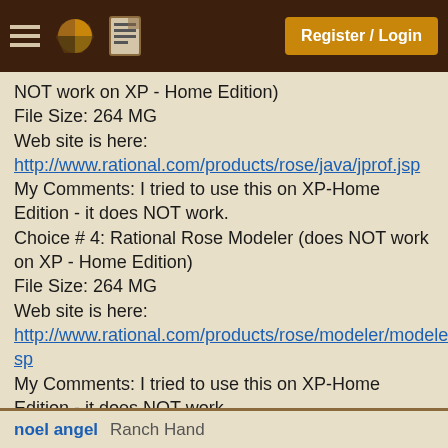Register / Login
NOT work on XP - Home Edition)
File Size: 264 MG
Web site is here:
http://www.rational.com/products/rose/java/jprof.jsp
My Comments: I tried to use this on XP-Home Edition - it does NOT work.
Choice # 4: Rational Rose Modeler (does NOT work on XP - Home Edition)
File Size: 264 MG
Web site is here:
http://www.rational.com/products/rose/modeler/modeler.jsp
My Comments: I tried to use this on XP-Home Edition - it does NOT work.
thanks!
kevin
[ March 14, 2003: Message edited by: Kevin Tho
]
noel angel   Ranch Hand